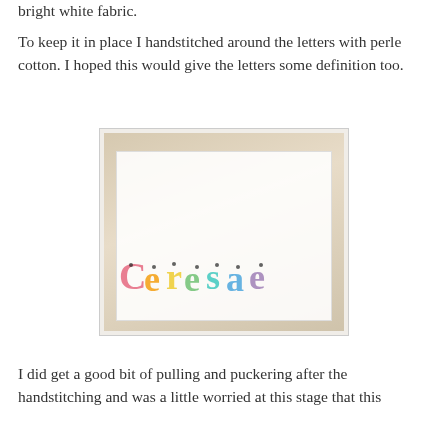bright white fabric.
To keep it in place I handstitched around the letters with perle cotton.  I hoped this would give the letters some definition too.
[Figure (photo): A white fabric piece laid flat, with colorful stuffed fabric letters arranged in a row spelling out a name. The letters are multi-colored (pink, orange, yellow, green, blue, purple) and appear to be hand-crafted and pinned in place.]
I did get a good bit of pulling  and puckering after the handstitching and was a little worried at this stage that this